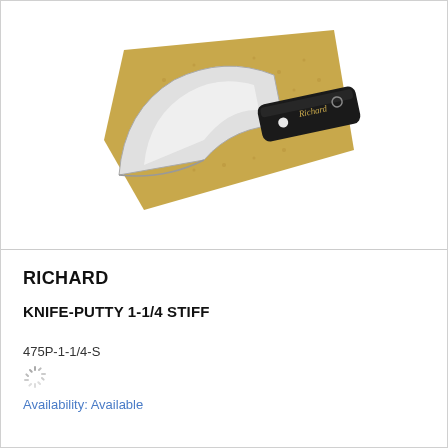[Figure (photo): A putty knife with a wide stiff steel blade and black handle branded 'Richard', displayed against a tan/cork background card.]
RICHARD
KNIFE-PUTTY 1-1/4 STIFF
475P-1-1/4-S
Availability: Available